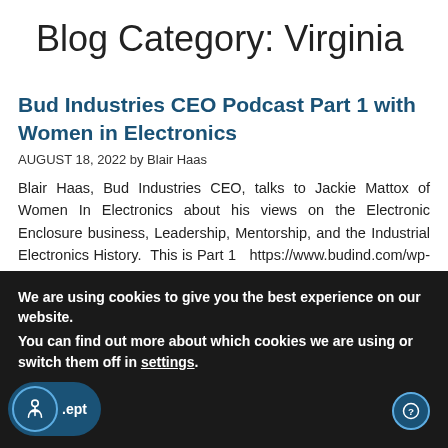Blog Category: Virginia
Bud Industries CEO Podcast Part 1 with Women in Electronics
AUGUST 18, 2022 by Blair Haas
Blair Haas, Bud Industries CEO, talks to Jackie Mattox of Women In Electronics about his views on the Electronic Enclosure business, Leadership, Mentorship, and the Industrial Electronics History.  This is Part 1   https://www.budind.com/wp-content/uploads/blair-haas-leader-in-highlight-series-part-1.mp3
We are using cookies to give you the best experience on our website.
You can find out more about which cookies we are using or switch them off in settings.